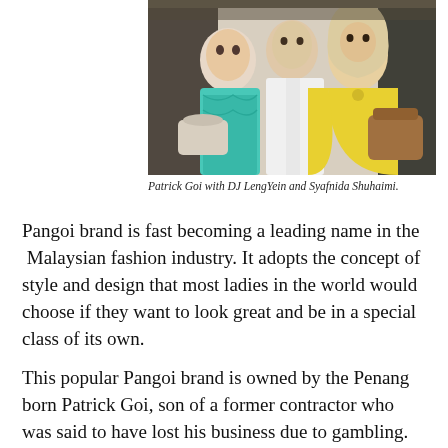[Figure (photo): Three people posing together: a woman in a teal patterned top on the left, a man in a white shirt in the center, and a woman in a yellow outfit with a hijab on the right. The woman on the left holds a beige handbag; the woman on the right holds a brown handbag.]
Patrick Goi with DJ LengYein and Syafnida Shuhaimi.
Pangoi brand is fast becoming a leading name in the  Malaysian fashion industry. It adopts the concept of style and design that most ladies in the world would choose if they want to look great and be in a special class of its own.
This popular Pangoi brand is owned by the Penang born Patrick Goi, son of a former contractor who was said to have lost his business due to gambling.